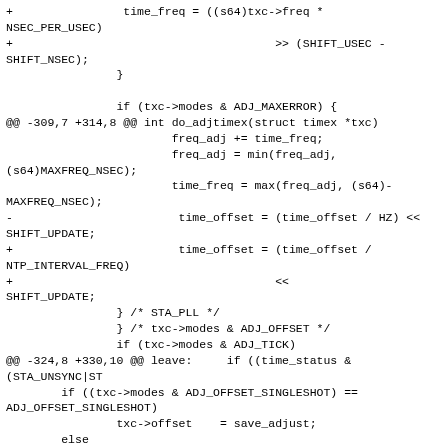+                time_freq = ((s64)txc->freq *
NSEC_PER_USEC)
+                                      >> (SHIFT_USEC -
SHIFT_NSEC);
                }

                if (txc->modes & ADJ_MAXERROR) {
@@ -309,7 +314,8 @@ int do_adjtimex(struct timex *txc)
                        freq_adj += time_freq;
                        freq_adj = min(freq_adj,
(s64)MAXFREQ_NSEC);
                        time_freq = max(freq_adj, (s64)-
MAXFREQ_NSEC);
-                        time_offset = (time_offset / HZ) <<
SHIFT_UPDATE;
+                        time_offset = (time_offset /
NTP_INTERVAL_FREQ)
+                                      <<
SHIFT_UPDATE;
                } /* STA_PLL */
                } /* txc->modes & ADJ_OFFSET */
                if (txc->modes & ADJ_TICK)
@@ -324,8 +330,10 @@ leave:     if ((time_status &
(STA_UNSYNC|ST
        if ((txc->modes & ADJ_OFFSET_SINGLESHOT) ==
ADJ_OFFSET_SINGLESHOT)
                txc->offset    = save_adjust;
        else
-               txc->offset    = shift_right(time_offset,
SHIFT_UPDATE) * HZ / 1000;